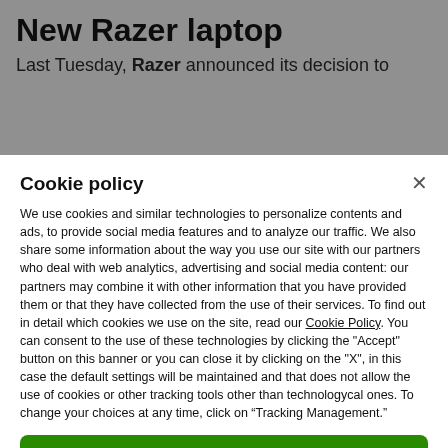New Razer laptop
Last Tuesday, Razer announced its decision to
Cookie policy
We use cookies and similar technologies to personalize contents and ads, to provide social media features and to analyze our traffic. We also share some information about the way you use our site with our partners who deal with web analytics, advertising and social media content: our partners may combine it with other information that you have provided them or that they have collected from the use of their services. To find out in detail which cookies we use on the site, read our Cookie Policy. You can consent to the use of these technologies by clicking the "Accept" button on this banner or you can close it by clicking on the "X", in this case the default settings will be maintained and that does not allow the use of cookies or other tracking tools other than technologycal ones. To change your choices at any time, click on “Tracking Management.”
ACCEPT
TRACKERS MANAGEMENT
Show vendors | Show purposes